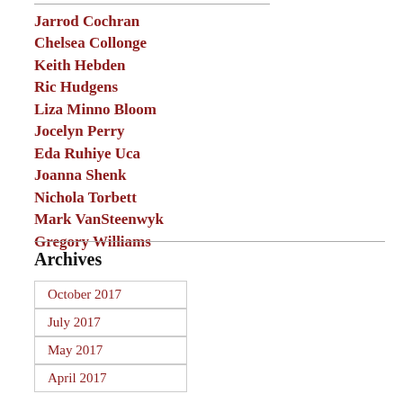Jarrod Cochran
Chelsea Collonge
Keith Hebden
Ric Hudgens
Liza Minno Bloom
Jocelyn Perry
Eda Ruhiye Uca
Joanna Shenk
Nichola Torbett
Mark VanSteenwyk
Gregory Williams
Archives
October 2017
July 2017
May 2017
April 2017